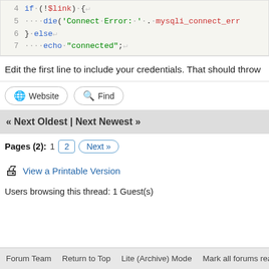[Figure (screenshot): Code block showing PHP lines 4-7: if(!$link) die and else echo connected]
Edit the first line to include your credentials. That should throw
Website   Find
« Next Oldest | Next Newest »
Pages (2): 1  2  Next »
View a Printable Version
Users browsing this thread: 1 Guest(s)
Forum Team   Return to Top   Lite (Archive) Mode   Mark all forums rea